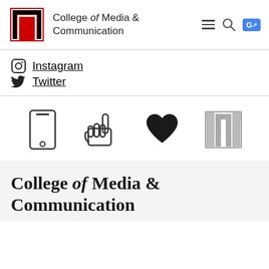[Figure (logo): Texas Tech University double-T logo in red and black, followed by College of Media & Communication text header with hamburger menu, search, and Google Translate icons]
Instagram
Twitter
[Figure (infographic): Four icons in a row: smartphone outline, pointing hand, solid heart, Texas Tech double-T logo in silver/grey]
College of Media & Communication